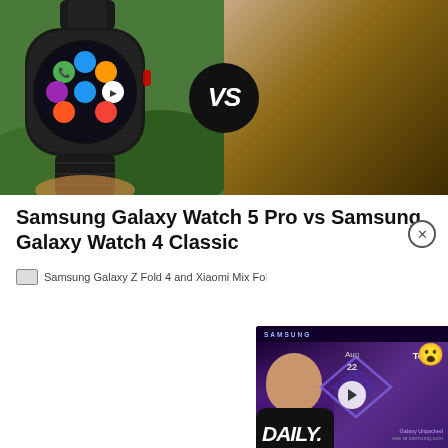[Figure (photo): Comparison image of two Samsung smartwatches side by side with a black 'VS' badge in the center. Left: Samsung Galaxy Watch 5 Pro showing app icons on screen. Right: Samsung Galaxy Watch 4 Classic showing analog-style watch face.]
Samsung Galaxy Watch 5 Pro vs Samsung Galaxy Watch 4 Classic
[Figure (photo): Broken image placeholder for Samsung Galaxy Z Fold 4 and Xiaomi Mix Fold]
[Figure (screenshot): Video overlay showing Samsung Daily show with a man smiling, purple diamond graphics, 'DAILY.' text, play button, 'Today' label, 'Aug 22' date, surprised emoji, and 'Galaxy Unpacked' text.]